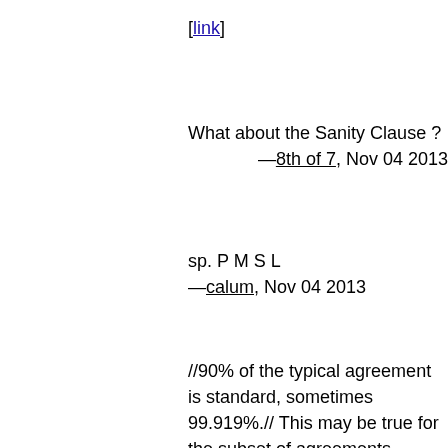[link]
What about the Sanity Clause ?
—8th of 7, Nov 04 2013
sp. P M S L
—calum, Nov 04 2013
//90% of the typical agreement is standard, sometimes 99.919%.// This may be true for the subset of agreements classed as end user agreements. It is not true, though, for the subset of legal agreements that I work at work. Yes, there are boilerplate clauses that are largely reusable — reusable in fact that my work has a whizzy macro for Word which allows to drop in standard indemnification, condition precedent clauses at the push of a whatsit - but these are not reusable without making sure they are appropriate for the contract you're drafting. And yes, there are clauses which jurisprudence or statute m— functionally adopted as clauses